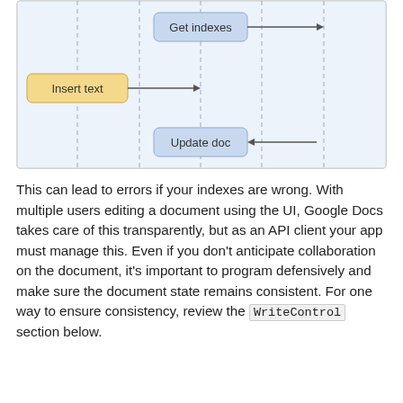[Figure (flowchart): Sequence/flow diagram showing: 'Get indexes' box (blue, top center) with arrow pointing right; 'Insert text' box (yellow, left middle) with arrow pointing right to center vertical dashed line; 'Update doc' box (blue, lower center) with arrow pointing left from right dashed line. Three vertical dashed lines divide the diagram into swim lanes. Light blue background panels.]
This can lead to errors if your indexes are wrong. With multiple users editing a document using the UI, Google Docs takes care of this transparently, but as an API client your app must manage this. Even if you don't anticipate collaboration on the document, it's important to program defensively and make sure the document state remains consistent. For one way to ensure consistency, review the WriteControl section below.